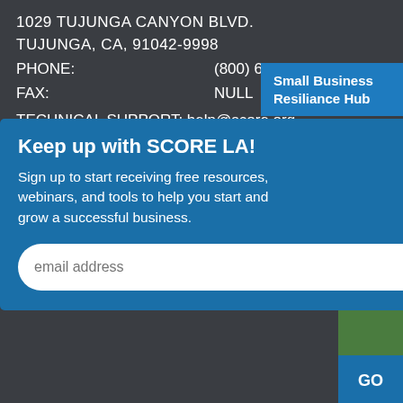1029 TUJUNGA CANYON BLVD.
TUJUNGA, CA, 91042-9998
PHONE:    (800) 634-024...
FAX:    NULL
TECHNICAL SUPPORT: help@score.org
Contact SCORE LA
[Figure (screenshot): Small Business Resiliance Hub badge in blue, top right corner]
[Figure (screenshot): Modal popup overlay: Keep up with SCORE LA! Sign up to start receiving free resources, webinars, and tools to help you start and grow a successful business. Email address input and SUBMIT button.]
Browse
Mentor
Profiles
Request